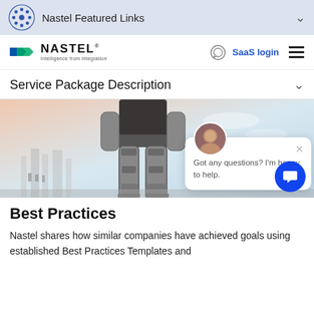Nastel Featured Links
[Figure (logo): Nastel logo with arrow icon and tagline 'Intelligence from integration']
SaaS login
Service Package Description
[Figure (illustration): A robot/cyborg figure standing in a city landscape]
Got any questions? I'm happy to help.
Best Practices
Nastel shares how similar companies have achieved goals using established Best Practices Templates and